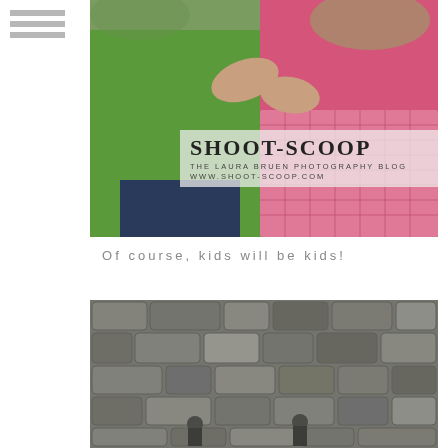[Figure (photo): Navigation/hamburger menu icon with three horizontal grey bars in upper left corner]
[Figure (photo): Close-up color photograph of two children hugging outdoors, one in a green shirt and one in a pink gingham dress, with a Shoot-Scoop blog logo overlay]
Of course, kids will be kids!
[Figure (photo): Black and white photograph of two children sitting in front of a large stone wall]